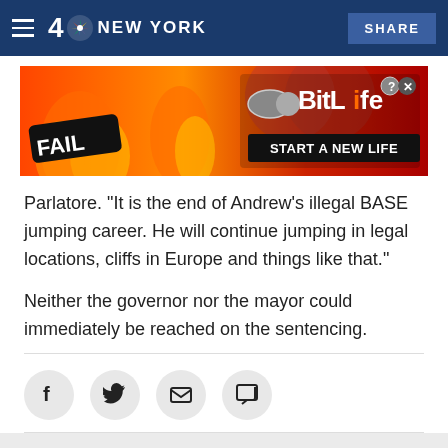4 NBC NEW YORK | SHARE
[Figure (screenshot): BitLife mobile game advertisement banner: 'FAIL - START A NEW LIFE']
Parlatore. "It is the end of Andrew's illegal BASE jumping career. He will continue jumping in legal locations, cliffs in Europe and things like that."
Neither the governor nor the mayor could immediately be reached on the sentencing.
[Figure (infographic): Social sharing buttons row: Facebook, Twitter, Email, Comment icons]